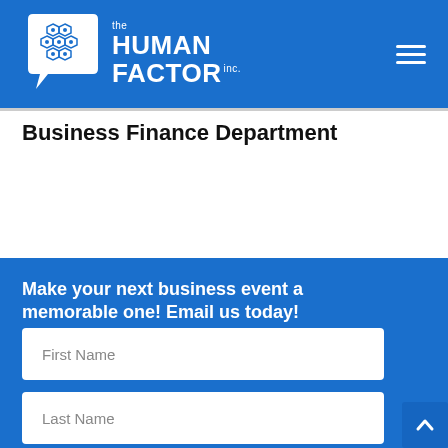[Figure (logo): The Human Factor Inc. logo — brain icon with hexagonal pattern on white speech bubble, white text on blue background]
Business Finance Department
Make your next business event a memorable one! Email us today!
First Name
Last Name